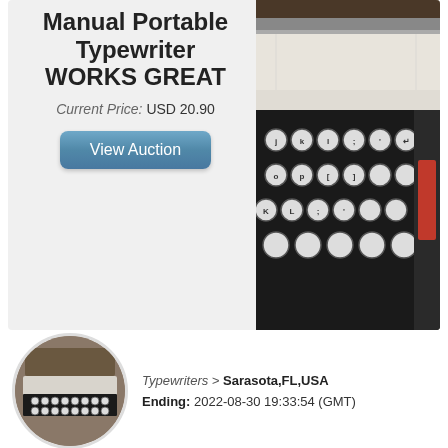Manual Portable Typewriter WORKS GREAT
Current Price: USD 20.90
View Auction
[Figure (photo): Close-up photo of a manual portable typewriter showing the keyboard with round white keys and the platen/paper guide area]
[Figure (photo): Circular thumbnail photo of a manual portable typewriter in its case, showing the full keyboard]
Typewriters > Sarasota,FL,USA
Ending: 2022-08-30 19:33:54 (GMT)